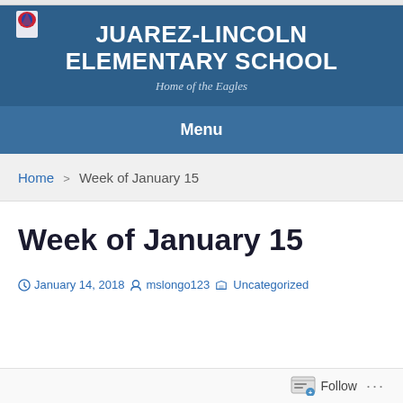JUAREZ-LINCOLN ELEMENTARY SCHOOL
Home of the Eagles
Menu
Home > Week of January 15
Week of January 15
January 14, 2018  mslongo123  Uncategorized